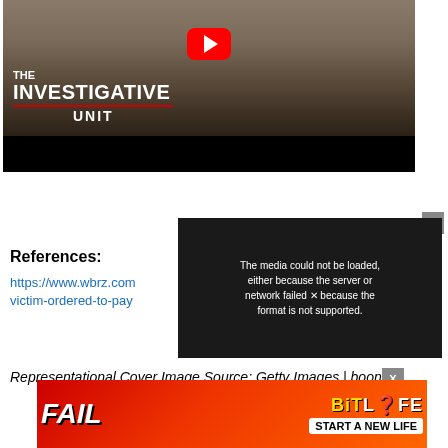[Figure (screenshot): YouTube video thumbnail showing 'The Investigative Unit' with two people visible and a YouTube play button overlay]
[Figure (screenshot): Media error overlay popup with text: The media could not be loaded, either because the server or network failed or because the format is not supported.]
References:
https://www.wbrz.com ... victim-ordered-to-pay...
Representational Cover Image Source: Getty Images | boon...
[Figure (screenshot): FAIL advertisement banner for BitLife - Start a New Life]